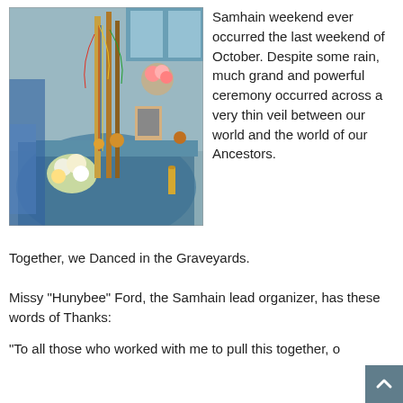[Figure (photo): Indoor ceremonial altar scene with tall decorated staffs, beaded necklaces, flowers, colorful cloth, and various ritual objects on a table with blue fabric draping.]
Samhain weekend ever occurred the last weekend of October. Despite some rain, much grand and powerful ceremony occurred across a very thin veil between our world and the world of our Ancestors.
Together, we Danced in the Graveyards.
Missy "Hunybee" Ford, the Samhain lead organizer, has these words of Thanks:
"To all those who worked with me to pull this together, o